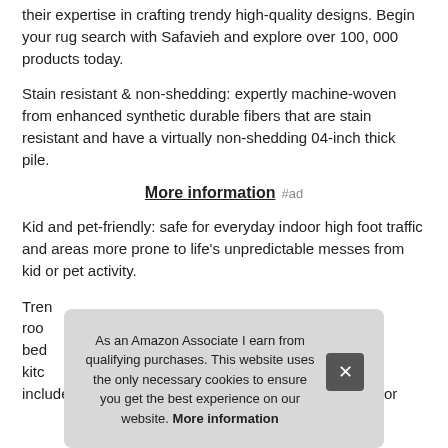their expertise in crafting trendy high-quality designs. Begin your rug search with Safavieh and explore over 100, 000 products today.
Stain resistant & non-shedding: expertly machine-woven from enhanced synthetic durable fibers that are stain resistant and have a virtually non-shedding 04-inch thick pile.
More information #ad
Kid and pet-friendly: safe for everyday indoor high foot traffic and areas more prone to life's unpredictable messes from kid or pet activity.
Tren... roo... bed... kitc... includes regular vacuuming and gently blotting out minor
As an Amazon Associate I earn from qualifying purchases. This website uses the only necessary cookies to ensure you get the best experience on our website. More information